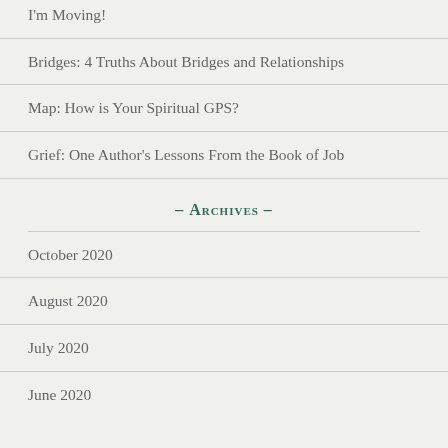I'm Moving!
Bridges: 4 Truths About Bridges and Relationships
Map: How is Your Spiritual GPS?
Grief: One Author's Lessons From the Book of Job
– Archives –
October 2020
August 2020
July 2020
June 2020